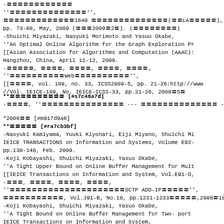-〓〓〓〓〓〓〓〓〓〓〓〓
''〓〓〓〓〓〓〓〓〓〓〓〓〓〓'',
〓〓〓〓〓〓〓〓〓〓〓〓〓1649 〓〓〓〓〓〓〓〓〓〓〓〓〓〓(〓〓LA〓〓〓〓〓),
pp. 73-80, May, 2009 (〓〓〓2009〓2〓). (〓〓〓〓〓〓〓〓)
-Shuichi Miyazaki, Naoyuki Morimoto and Yasuo Okabe,
''An Optimal Online Algorithm for the Graph Exploration Pr
[[Asian Association for Algorithms and Computation (AAAC):
Hangzhou, China, April 11-12, 2009.
-〓〓〓〓〓, 〓〓〓〓, 〓〓〓〓, 〓〓〓〓, 〓〓〓〓,
''〓〓〓〓〓〓〓〓〓〓Web〓〓〓〓〓〓〓〓〓〓'',
[[〓〓〓〓, vol. 109, no. 33, ICSS2009-5, pp. 21-26:http://www
//Vol. IEICE-109, No. IEICE-ICSS-33, pp.21-26, 2009〓5〓
**〓〓〓〓〓〓〓〓〓〓 [#s7c46a7d]
-〓〓〓〓, ''〓〓〓〓〓〓〓〓〓〓〓〓〓〓〓 --- 〓〓〓〓〓〓〓〓〓〓〓〓〓〓 ---'', 〓〓〓〓〓〓
*2008〓〓 [#m917d9a6]
**〓〓〓〓〓 [#ra7cb3bf]
-Naoyuki Kamiyama, Yuuki Kiyonari, Eiji Miyano, Shuichi Mi
IEICE TRANSACTIONS on Information and Systems, Volume E92-
pp.130-140, Feb. 2009.
-Koji Kobayashi, Shuichi Miyazaki, Yasuo Okabe,
''A Tight Upper Bound on Online Buffer Management for Mult
[[IEICE Transactions on Information and System, Vol.E91-D,
-〓〓〓, 〓〓〓〓, 〓〓〓〓, 〓〓〓〓,
''〓〓〓〓〓〓〓〓〓〓〓〓〓〓〓〓〓〓〓〓〓SCTP ADD-IP〓〓〓〓〓'',
〓〓〓〓〓〓〓〓〓〓〓, Vol.J91-B, No.10, pp.1231-1233〓〓〓〓〓,2008〓10〓
-Koji Kobayashi, Shuichi Miyazaki, Yasuo Okabe,
''A Tight Bound on Online Buffer Management for Two- port
IEICE Transactions on Information and System,